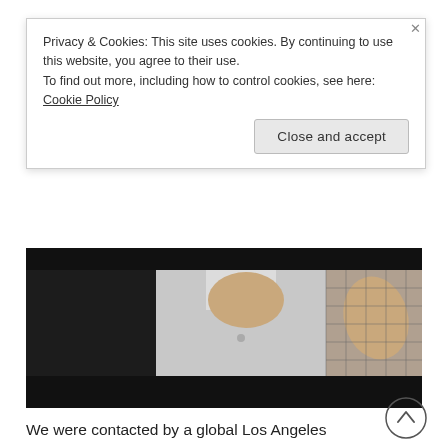Privacy & Cookies: This site uses cookies. By continuing to use this website, you agree to their use.
To find out more, including how to control cookies, see here: Cookie Policy
[Figure (photo): A person in a white chef's jacket with their hand raised, standing in front of a tiled background. Another person in black is partially visible on the left. The image has dark borders at the top and bottom.]
We were contacted by a global Los Angeles marketing agency, on behalf of their client to head up the authentic culinary experience on a 10 city European tour!  Read more...